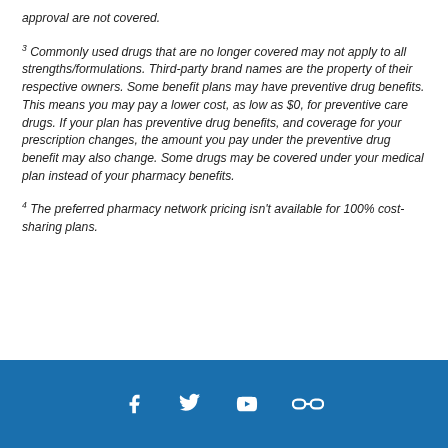approval are not covered.
3 Commonly used drugs that are no longer covered may not apply to all strengths/formulations. Third-party brand names are the property of their respective owners. Some benefit plans may have preventive drug benefits. This means you may pay a lower cost, as low as $0, for preventive care drugs. If your plan has preventive drug benefits, and coverage for your prescription changes, the amount you pay under the preventive drug benefit may also change. Some drugs may be covered under your medical plan instead of your pharmacy benefits.
4 The preferred pharmacy network pricing isn’t available for 100% cost-sharing plans.
Social media icons: Facebook, Twitter, YouTube, and a chain/link icon